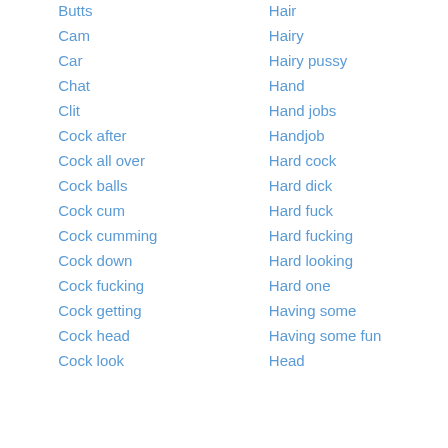Butts
Cam
Car
Chat
Clit
Cock after
Cock all over
Cock balls
Cock cum
Cock cumming
Cock down
Cock fucking
Cock getting
Cock head
Cock look
Hair
Hairy
Hairy pussy
Hand
Hand jobs
Handjob
Hard cock
Hard dick
Hard fuck
Hard fucking
Hard looking
Hard one
Having some
Having some fun
Head